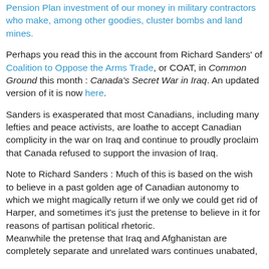Pension Plan investment of our money in military contractors who make, among other goodies, cluster bombs and land mines.
Perhaps you read this in the account from Richard Sanders' of Coalition to Oppose the Arms Trade, or COAT, in Common Ground this month : Canada's Secret War in Iraq. An updated version of it is now here.
Sanders is exasperated that most Canadians, including many lefties and peace activists, are loathe to accept Canadian complicity in the war on Iraq and continue to proudly proclaim that Canada refused to support the invasion of Iraq.
Note to Richard Sanders : Much of this is based on the wish to believe in a past golden age of Canadian autonomy to which we might magically return if we only we could get rid of Harper, and sometimes it's just the pretense to believe in it for reasons of partisan political rhetoric. Meanwhile the pretense that Iraq and Afghanistan are completely separate and unrelated wars continues unabated,